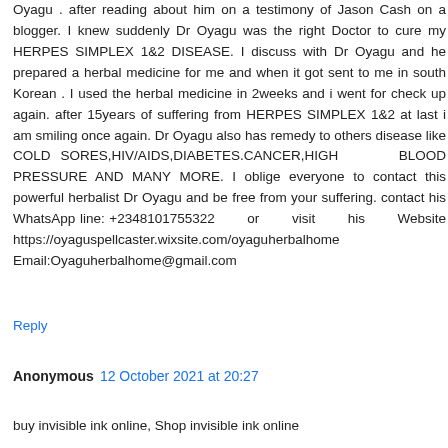Oyagu . after reading about him on a testimony of Jason Cash on a blogger. I knew suddenly Dr Oyagu was the right Doctor to cure my HERPES SIMPLEX 1&2 DISEASE. I discuss with Dr Oyagu and he prepared a herbal medicine for me and when it got sent to me in south Korean . I used the herbal medicine in 2weeks and i went for check up again. after 15years of suffering from HERPES SIMPLEX 1&2 at last i am smiling once again. Dr Oyagu also has remedy to others disease like COLD SORES,HIV/AIDS,DIABETES.CANCER,HIGH BLOOD PRESSURE AND MANY MORE. I oblige everyone to contact this powerful herbalist Dr Oyagu and be free from your suffering. contact his WhatsApp line: +2348101755322 or visit his Website https://oyaguspellcaster.wixsite.com/oyaguherbalhome Email:Oyaguherbalhome@gmail.com
Reply
Anonymous  12 October 2021 at 20:27
buy invisible ink online, Shop invisible ink online